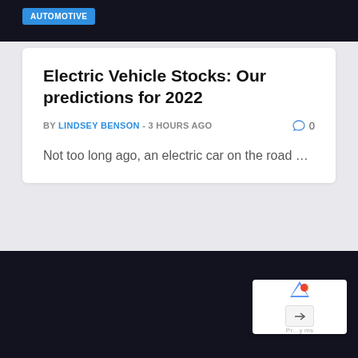[Figure (screenshot): Dark top navigation bar with AUTOMOTIVE badge in blue]
Electric Vehicle Stocks: Our predictions for 2022
BY LINDSEY BENSON - 3 HOURS AGO   0
Not too long ago, an electric car on the road …
[Figure (screenshot): Dark section at the bottom of the page, nearly black background]